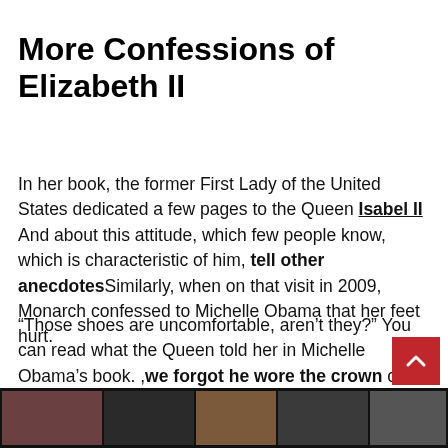More Confessions of Elizabeth II
In her book, the former First Lady of the United States dedicated a few pages to the Queen Isabel II And about this attitude, which few people know, which is characteristic of him, tell other anecdotesSimilarly, when on that visit in 2009, Monarch confessed to Michelle Obama that her feet hurt.
“Those shoes are uncomfortable, aren’t they?” You can read what the Queen told her in Michelle Obama’s book. ,we forgot he wore the crown of diamonds and that I went to London in the President’s plane. We were just two women at the time, tired and tormented by our own shoes”, said Michele of trust and empathy. Royal,
[Figure (photo): A strip of photos at the bottom of the page, mostly dark with partial views of people.]